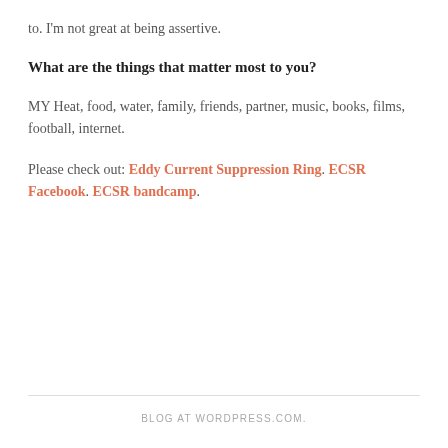to. I'm not great at being assertive.
What are the things that matter most to you?
MY Heat, food, water, family, friends, partner, music, books, films, football, internet.
Please check out: Eddy Current Suppression Ring. ECSR Facebook. ECSR bandcamp.
BLOG AT WORDPRESS.COM.